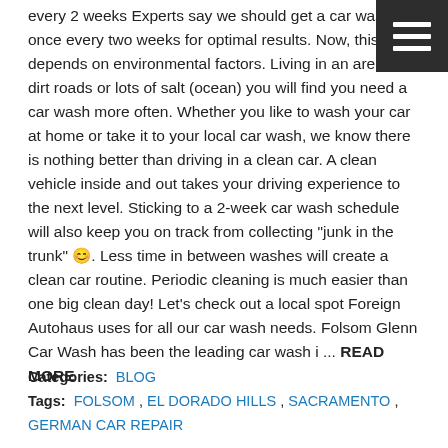every 2 weeks Experts say we should get a car wash once every two weeks for optimal results. Now, this depends on environmental factors. Living in an area with dirt roads or lots of salt (ocean) you will find you need a car wash more often. Whether you like to wash your car at home or take it to your local car wash, we know there is nothing better than driving in a clean car. A clean vehicle inside and out takes your driving experience to the next level. Sticking to a 2-week car wash schedule will also keep you on track from collecting "junk in the trunk" 😊. Less time in between washes will create a clean car routine. Periodic cleaning is much easier than one big clean day! Let's check out a local spot Foreign Autohaus uses for all our car wash needs. Folsom Glenn Car Wash has been the leading car wash i ... READ MORE
Categories: BLOG
Tags: FOLSOM , EL DORADO HILLS , SACRAMENTO , GERMAN CAR REPAIR